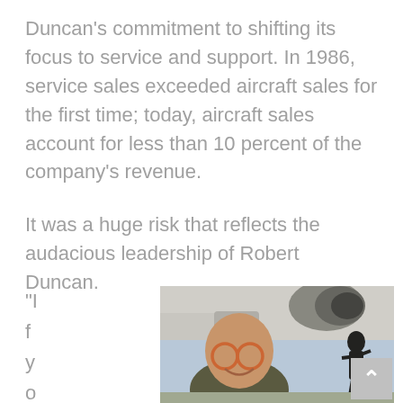Duncan's commitment to shifting its focus to service and support. In 1986, service sales exceeded aircraft sales for the first time; today, aircraft sales account for less than 10 percent of the company's revenue.
It was a huge risk that reflects the audacious leadership of Robert Duncan.
[Figure (photo): A smiling middle-aged bald man wearing round orange-framed glasses and a dark olive jacket, photographed in front of a business jet aircraft. In the background, a silhouetted person works on the aircraft engine.]